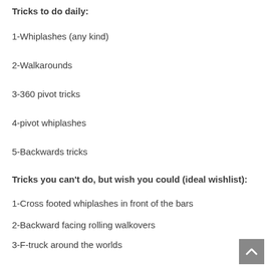Tricks to do daily:
1-Whiplashes (any kind)
2-Walkarounds
3-360 pivot tricks
4-pivot whiplashes
5-Backwards tricks
Tricks you can’t do, but wish you could (ideal wishlist):
1-Cross footed whiplashes in front of the bars
2-Backward facing rolling walkovers
3-F-truck around the worlds
4-Big Wallrides
5-360 Bunnyhop Whips